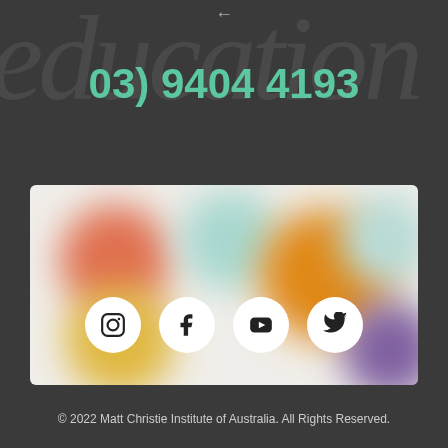[Figure (other): Watermark cursive text 'education' in light transparent letters on dark background]
03) 9404 4193
[Figure (photo): Blurred colorful image with orange, red, yellow, teal, and purple blob shapes on white background]
[Figure (other): Four social media icons in white circles: Instagram, Facebook, YouTube, Twitter]
© 2022 Matt Christie Institute of Australia. All Rights Reserved.